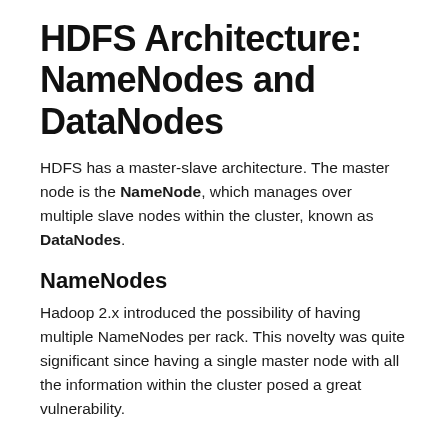HDFS Architecture: NameNodes and DataNodes
HDFS has a master-slave architecture. The master node is the NameNode, which manages over multiple slave nodes within the cluster, known as DataNodes.
NameNodes
Hadoop 2.x introduced the possibility of having multiple NameNodes per rack. This novelty was quite significant since having a single master node with all the information within the cluster posed a great vulnerability.